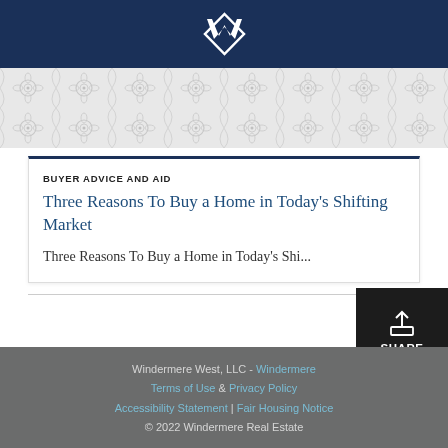Windermere logo header
[Figure (illustration): Decorative floral/scroll pattern band in light gray]
BUYER ADVICE AND AID
Three Reasons To Buy a Home in Today's Shifting Market
Three Reasons To Buy a Home in Today's Shi...
[Figure (other): Share button with upload icon and SHARE label on black background]
Windermere West, LLC - Windermere Terms of Use & Privacy Policy Accessibility Statement | Fair Housing Notice © 2022 Windermere Real Estate